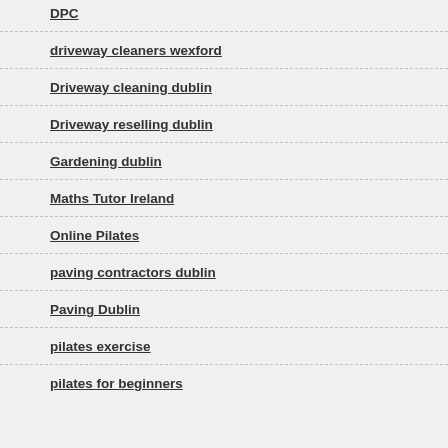DPC
driveway cleaners wexford
Driveway cleaning dublin
Driveway reselling dublin
Gardening dublin
Maths Tutor Ireland
Online Pilates
paving contractors dublin
Paving Dublin
pilates exercise
pilates for beginners